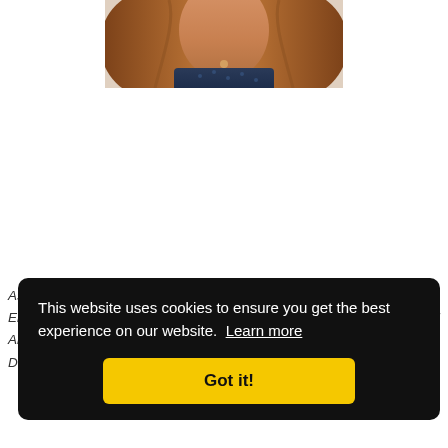[Figure (photo): Partial photo of a woman with reddish-brown hair wearing a dark blue patterned top, cropped at the top of the page]
As... Base En... Arnold Ar... Delivery, Indefinite Quantity (IDIQ) contract, which has varied
This website uses cookies to ensure you get the best experience on our website. Learn more
Got it!